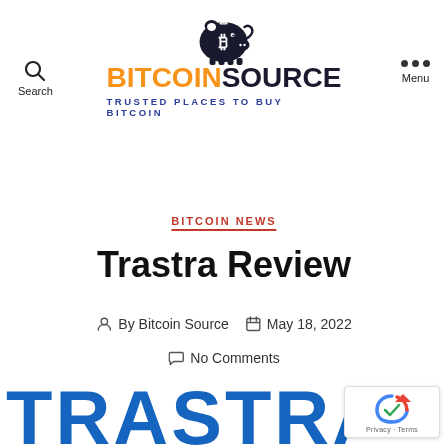Bitcoin Source — Trusted Places to Buy Bitcoin
BITCOIN NEWS
Trastra Review
By Bitcoin Source   May 18, 2022
No Comments
[Figure (logo): Trastra logo — large blue letters TRASTRA partially visible at bottom of page]
[Figure (logo): reCAPTCHA badge in lower right corner]